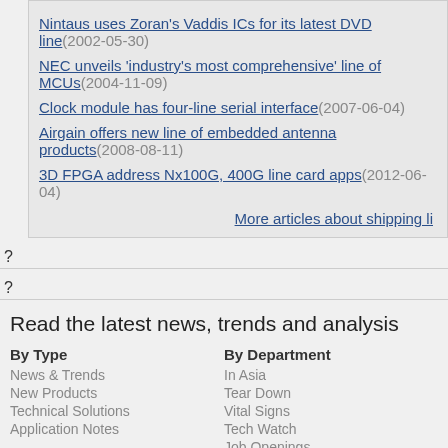Nintaus uses Zoran's Vaddis ICs for its latest DVD line (2002-05-30)
NEC unveils 'industry's most comprehensive' line of MCUs (2004-11-09)
Clock module has four-line serial interface (2007-06-04)
Airgain offers new line of embedded antenna products (2008-08-11)
3D FPGA address Nx100G, 400G line card apps (2012-06-04)
More articles about shipping li...
?
?
Read the latest news, trends and analysis
By Type
News & Trends
New Products
Technical Solutions
Application Notes
By Department
In Asia
Tear Down
Vital Signs
Tech Watch
Job Openings
By Technology
Amplifiers/Converters
Controls/MCUs
Networks
Optoelectronics/Displays